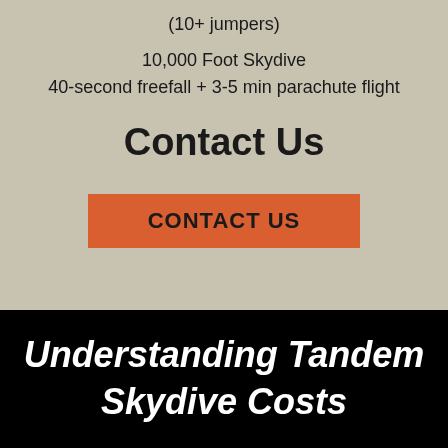(10+ jumpers)
10,000 Foot Skydive
40-second freefall + 3-5 min parachute flight
Contact Us
CONTACT US
Understanding Tandem Skydive Costs